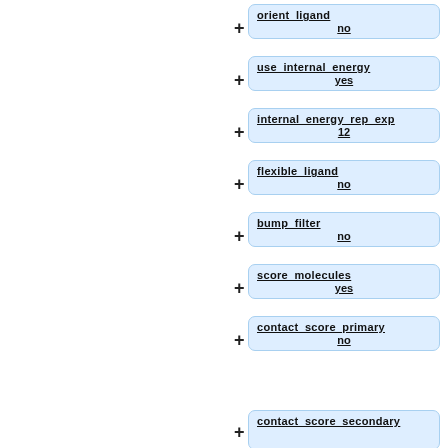orient_ligand / no
use_internal_energy / yes
internal_energy_rep_exp / 12
flexible_ligand / no
bump_filter / no
score_molecules / yes
contact_score_primary / no
contact_score_secondary